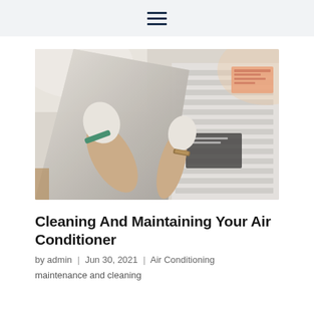≡ (hamburger menu icon)
[Figure (photo): Person wearing white gloves cleaning or removing the cover of a wall-mounted air conditioning unit indoors.]
Cleaning And Maintaining Your Air Conditioner
by admin | Jun 30, 2021 | Air Conditioning
maintenance and cleaning